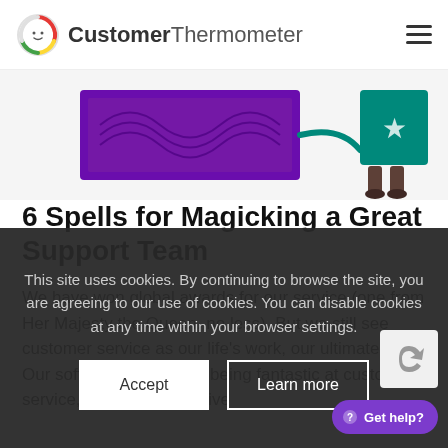CustomerThermometer
[Figure (illustration): Illustration showing a purple decorative board/carpet and a figure wearing teal/green top and brown boots, with a teal curved connector line between them.]
6 Spells for Magicking a Great Support Team
We have won global awards for our service (one from Her Majesty the Queen, no less). But we still see customer service as our life's work, our ultimate goal. Our software is all about being fantastic at customer service, and we want to live
This site uses cookies. By continuing to browse the site, you are agreeing to our use of cookies. You can disable cookies at any time within your browser settings.
Accept
Learn more